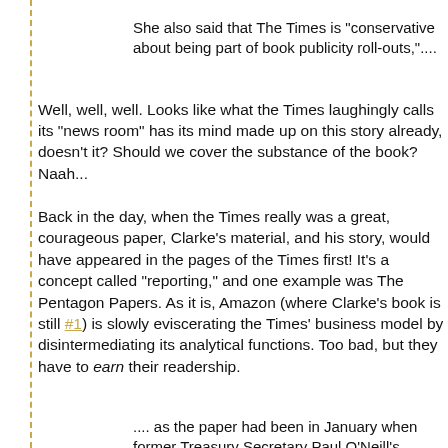She also said that The Times is "conservative about being part of book publicity roll-outs,"....
Well, well, well. Looks like what the Times laughingly calls its "news room" has its mind made up on this story already, doesn't it? Should we cover the substance of the book? Naah...
Back in the day, when the Times really was a great, courageous paper, Clarke's material, and his story, would have appeared in the pages of the Times first! It's a concept called "reporting," and one example was The Pentagon Papers. As it is, Amazon (where Clarke's book is still #1) is slowly eviscerating the Times' business model by disintermediating its analytical functions. Too bad, but they have to earn their readership.
.... as the paper had been in January when former Treasury Secretary Paul O'Neill's revelations about his experience in the Bush administration were first released. "We'd rather be in on the front end, with our own enterprise, than be manipulated into helping sell a book," Abramson concluded. "And we hardly buried the news in the book."